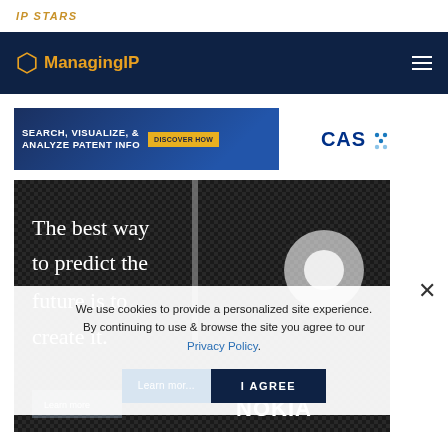IP STARS
[Figure (screenshot): Managing IP navigation bar with hexagon logo in gold/orange and hamburger menu on dark navy background]
[Figure (screenshot): CAS advertisement banner: SEARCH, VISUALIZE, & ANALYZE PATENT INFO with DISCOVER HOW button and CAS logo]
[Figure (photo): Nokia advertisement: dark carbon fiber texture background with text 'The best way to predict the future is to create it' and Learn more button]
We use cookies to provide a personalized site experience. By continuing to use & browse the site you agree to our Privacy Policy.
I AGREE